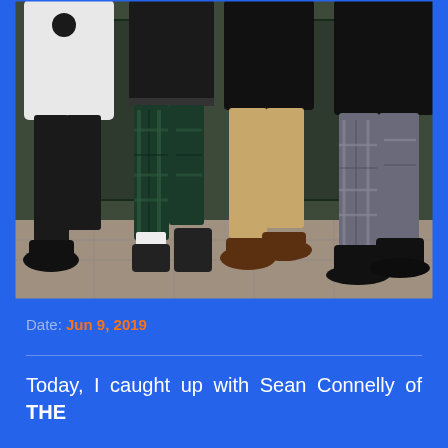[Figure (photo): Four young men standing together on a street pavement, photographed from roughly waist/chest down. They wear varied trousers: black skinny jeans, dark green tartan trousers, khaki chinos, and grey plaid trousers. Footwear includes black Chelsea boots, black hi-top trainers, brown Oxford brogues, and black boots.]
Date: Jun 9, 2019
Today, I caught up with Sean Connelly of THE